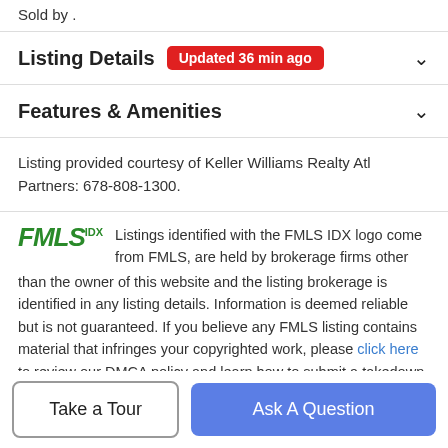Sold by .
Listing Details   Updated 36 min ago
Features & Amenities
Listing provided courtesy of Keller Williams Realty Atl Partners: 678-808-1300.
Listings identified with the FMLS IDX logo come from FMLS, are held by brokerage firms other than the owner of this website and the listing brokerage is identified in any listing details. Information is deemed reliable but is not guaranteed. If you believe any FMLS listing contains material that infringes your copyrighted work, please click here to review our DMCA policy and learn how to submit a takedown request. ©
Take a Tour
Ask A Question